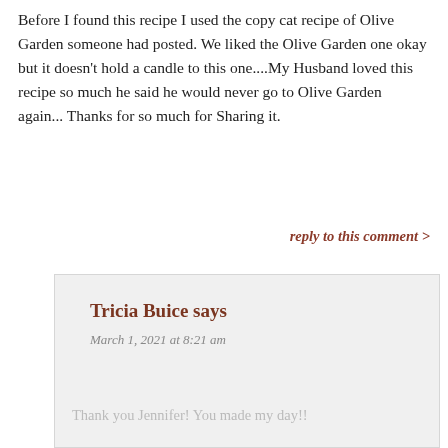Before I found this recipe I used the copy cat recipe of Olive Garden someone had posted. We liked the Olive Garden one okay but it doesn't hold a candle to this one....My Husband loved this recipe so much he said he would never go to Olive Garden again... Thanks for so much for Sharing it.
reply to this comment >
Tricia Buice says
March 1, 2021 at 8:21 am
Thank you Jennifer! You made my day!!